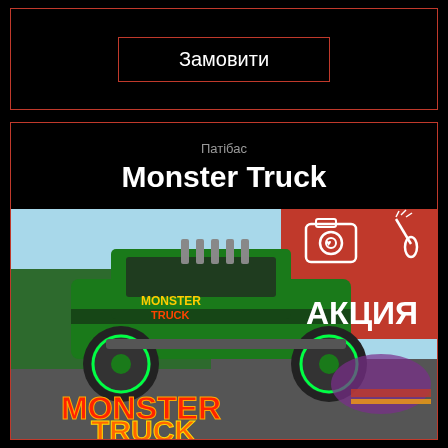Замовити
Патібас
Monster Truck
[Figure (illustration): Monster Truck promotional image with a large green and black monster truck, red promotional banner with 'АКЦИЯ' text and icons for photo and bottle, text 'MONSTER TRUCK' at the bottom in yellow/red letters]